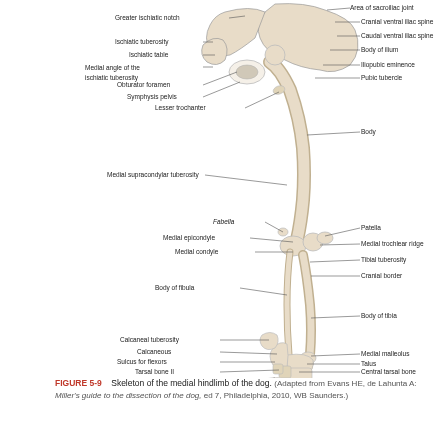[Figure (illustration): Anatomical illustration of the medial hindlimb skeleton of a dog, with labeled structures including greater ischiatic notch, ischiatic tuberosity, ischiatic table, medial angle of the ischiatic tuberosity, obturator foramen, symphysis pelvis, lesser trochanter, medial supracondylar tuberosity, fabella, medial epicondyle, medial condyle, body of fibula, calcaneal tuberosity, calcaneous, sulcus for flexors, tarsal bone II, tarsal bone I, metatarsal I on the left side; and area of sacroiliac joint, cranial ventral iliac spine, caudal ventral iliac spine, body of ilium, iliopubic eminence, pubic tubercle, body, patella, medial trochlear ridge, tibial tuberosity, cranial border, body of tibia, medial malleolus, talus, central tarsal bone, tarsal bone III, metatarsals II-III on the right side.]
FIGURE 5-9    Skeleton of the medial hindlimb of the dog. (Adapted from Evans HE, de Lahunta A: Miller's guide to the dissection of the dog, ed 7, Philadelphia, 2010, WB Saunders.)